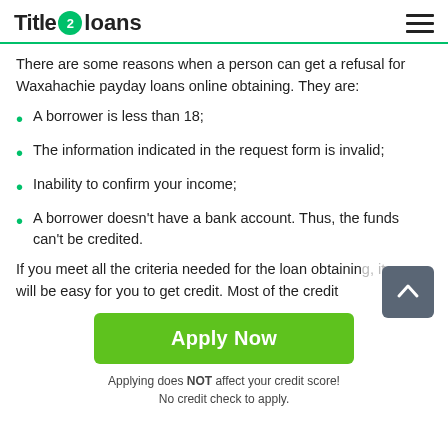Title 2 Loans
There are some reasons when a person can get a refusal for Waxahachie payday loans online obtaining. They are:
A borrower is less than 18;
The information indicated in the request form is invalid;
Inability to confirm your income;
A borrower doesn't have a bank account. Thus, the funds can't be credited.
If you meet all the criteria needed for the loan obtaining, it will be easy for you to get credit. Most of the credit
Apply Now
Applying does NOT affect your credit score!
No credit check to apply.